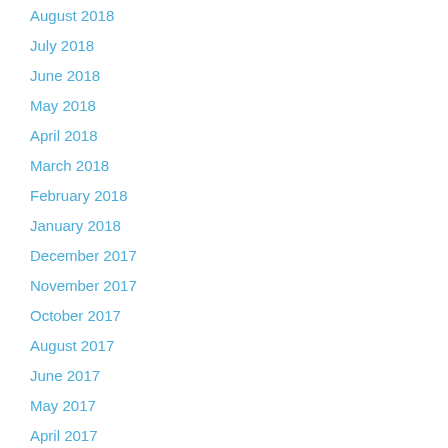August 2018
July 2018
June 2018
May 2018
April 2018
March 2018
February 2018
January 2018
December 2017
November 2017
October 2017
August 2017
June 2017
May 2017
April 2017
March 2017
January 2017